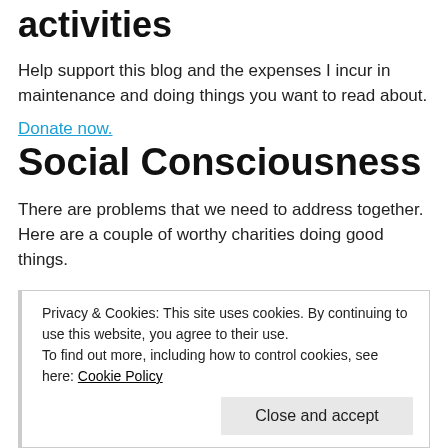activities
Help support this blog and the expenses I incur in maintenance and doing things you want to read about.
Donate now.
Social Consciousness
There are problems that we need to address together. Here are a couple of worthy charities doing good things.
Amnesty International cares about human rights even if our government doesn't.
Privacy & Cookies: This site uses cookies. By continuing to use this website, you agree to their use.
To find out more, including how to control cookies, see here: Cookie Policy
Close and accept